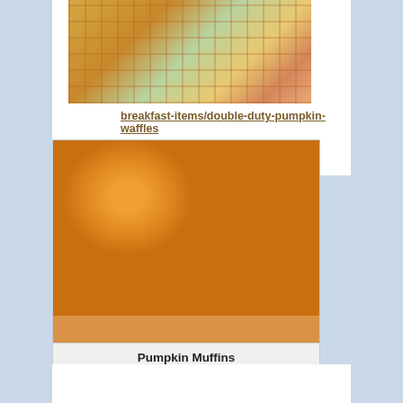[Figure (photo): Photo of pumpkin waffles on a plate with floral design, placed on a pink striped surface]
breakfast-items/double-duty-pumpkin-waffles
[Figure (photo): Close-up photo of orange pumpkin muffins piled together]
Pumpkin Muffins
PUMPKIN MUFFINS made from the